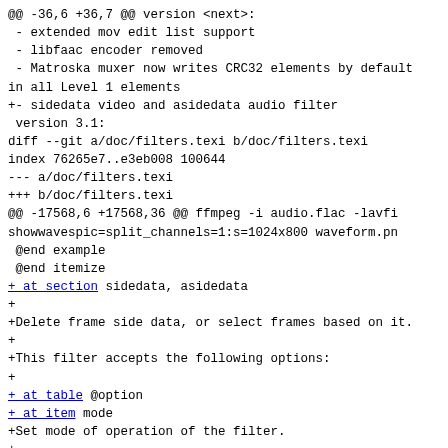@@ -36,6 +36,7 @@ version <next>:
 - extended mov edit list support
 - libfaac encoder removed
 - Matroska muxer now writes CRC32 elements by default
in all Level 1 elements
+- sidedata video and asidedata audio filter
version 3.1:
diff --git a/doc/filters.texi b/doc/filters.texi
index 76265e7..e3eb008 100644
--- a/doc/filters.texi
+++ b/doc/filters.texi
@@ -17568,6 +17568,36 @@ ffmpeg -i audio.flac -lavfi
showwavespic=split_channels=1:s=1024x800 waveform.pn
 @end example
 @end itemize
+ at section sidedata, asidedata
+
+Delete frame side data, or select frames based on it.
+
+This filter accepts the following options:
+
+ at table @option
+ at item mode
+Set mode of operation of the filter.
+
+Can be one of the following:
+